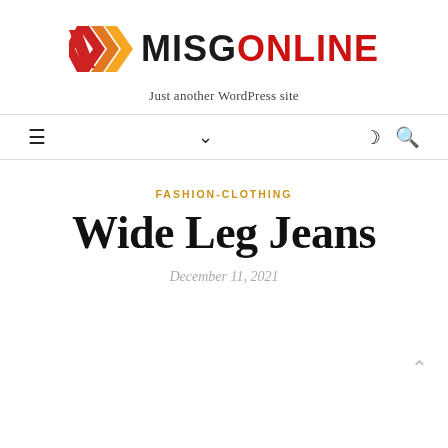[Figure (logo): MISGONLINE logo with chevron/arrow graphic in red, orange and yellow, followed by bold text MISG in black and ONLINE in red]
Just another WordPress site
Navigation bar with hamburger menu, chevron down, moon icon, and search icon
FASHION-CLOTHING
Wide Leg Jeans
December 11, 2021